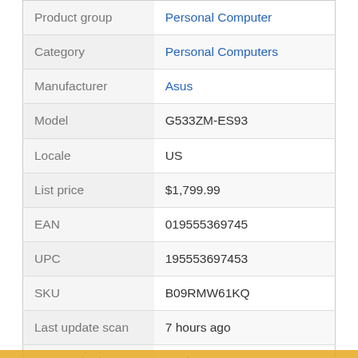| Field | Value |
| --- | --- |
| Product group | Personal Computer |
| Category | Personal Computers |
| Manufacturer | Asus |
| Model | G533ZM-ES93 |
| Locale | US |
| List price | $1,799.99 |
| EAN | 019555369745 |
| UPC | 195553697453 |
| SKU | B09RMW61KQ |
| Last update scan | 7 hours ago |
| Last tracked | 12 days ago |